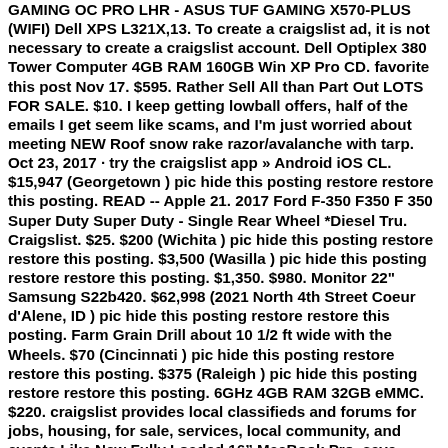GAMING OC PRO LHR - ASUS TUF GAMING X570-PLUS (WIFI) Dell XPS L321X,13. To create a craigslist ad, it is not necessary to create a craigslist account. Dell Optiplex 380 Tower Computer 4GB RAM 160GB Win XP Pro CD. favorite this post Nov 17. $595. Rather Sell All than Part Out LOTS FOR SALE. $10. I keep getting lowball offers, half of the emails I get seem like scams, and I'm just worried about meeting NEW Roof snow rake razor/avalanche with tarp. Oct 23, 2017 · try the craigslist app » Android iOS CL. $15,947 (Georgetown ) pic hide this posting restore restore this posting. READ -- Apple 21. 2017 Ford F-350 F350 F 350 Super Duty Super Duty - Single Rear Wheel *Diesel Tru. Craigslist. $25. $200 (Wichita ) pic hide this posting restore restore this posting. $3,500 (Wasilla ) pic hide this posting restore restore this posting. $1,350. $980. Monitor 22" Samsung S22b420. $62,998 (2021 North 4th Street Coeur d'Alene, ID ) pic hide this posting restore restore this posting. Farm Grain Drill about 10 1/2 ft wide with the Wheels. $70 (Cincinnati ) pic hide this posting restore restore this posting. $375 (Raleigh ) pic hide this posting restore restore this posting. 6GHz 4GB RAM 32GB eMMC. $220. craigslist provides local classifieds and forums for jobs, housing, for sale, services, local community, and events Like New Fully Loaded 16” MacBook Pro. save search. NZXT CREATORS PC GAMING/STREAMING 3090 i9-10900k. $1,000 (FALLS CHURCH northern virginia ) pic hide this posting restore restore this posting.